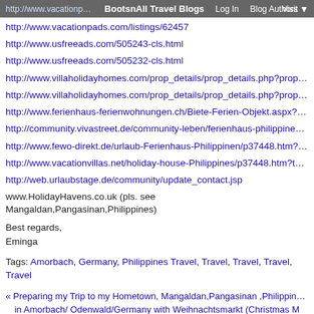http://www.vacationpads.com/listings/62463 | BootsnAll Travel Blogs | Log In | Blog Authors | Visit
http://www.vacationpads.com/listings/62457
http://www.usfreeads.com/505243-cls.html
http://www.usfreeads.com/505232-cls.html
http://www.villaholidayhomes.com/prop_details/prop_details.php?prop_id=12032
http://www.villaholidayhomes.com/prop_details/prop_details.php?prop_id=12031
http://www.ferienhaus-ferienwohnungen.ch/Biete-Ferien-Objekt.aspx?Id=4326
http://community.vivastreet.de/community-leben/ferienhaus-philippinen-zu-vermiete
http://www.fewo-direkt.de/urlaub-Ferienhaus-Philippinen/p37448.htm?tgqfe=1
http://www.vacationvillas.net/holiday-house-Philippines/p37448.htm?tgqfe=1
http://web.urlaubstage.de/community/update_contact.jsp
www.HolidayHavens.co.uk (pls. see Mangaldan,Pangasinan,Philippines)
Best regards,
Eminga
Tags: Amorbach, Germany, Philippines Travel, Travel, Travel, Travel, Travel
« Preparing my Trip to my Hometown, Mangaldan,Pangasinan ,Philippines | Home... in Amorbach/ Odenwald/Germany with Weihnachtsmarkt (Christmas M...